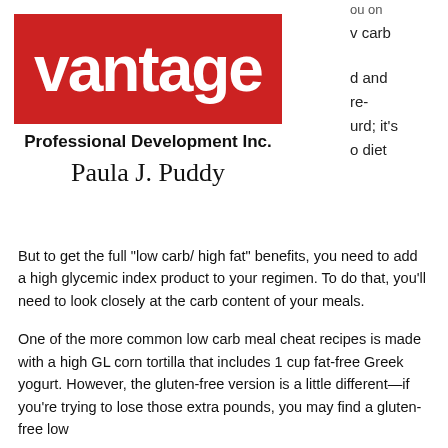[Figure (logo): Vantage logo: red rectangle with white bold lowercase text 'vantage']
Professional Development Inc.
Paula J. Puddy
v carb
d and
re-
urd; it's
o diet
But to get the full "low carb/ high fat" benefits, you need to add a high glycemic index product to your regimen. To do that, you'll need to look closely at the carb content of your meals.
One of the more common low carb meal cheat recipes is made with a high GL corn tortilla that includes 1 cup fat-free Greek yogurt. However, the gluten-free version is a little different—if you're trying to lose those extra pounds, you may find a gluten-free low